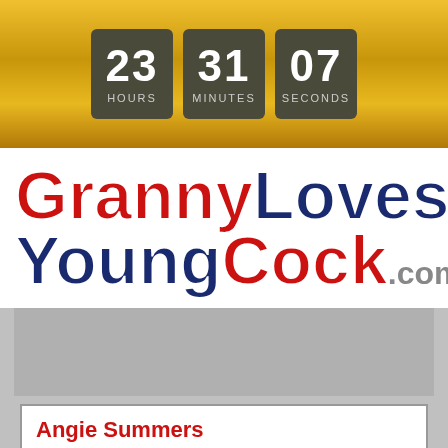[Figure (other): Countdown timer showing 23 hours, 31 minutes, 07 seconds on dark boxes over gold background]
GrannyLovesYoungCock.com
[Figure (other): Gray advertisement placeholder area]
Angie Summers
Busty MILF loves young cock ...
Redhead Angie Summers, who's 51, comes home with groceries...and the delivery boy! This horny MILF can't